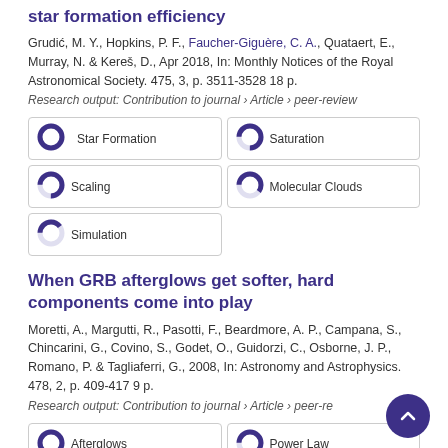star formation efficiency
Grudić, M. Y., Hopkins, P. F., Faucher-Giguère, C. A., Quataert, E., Murray, N. & Kereš, D., Apr 2018, In: Monthly Notices of the Royal Astronomical Society. 475, 3, p. 3511-3528 18 p.
Research output: Contribution to journal › Article › peer-review
100% Star Formation
75% Saturation
75% Scaling
60% Molecular Clouds
40% Simulation
When GRB afterglows get softer, hard components come into play
Moretti, A., Margutti, R., Pasotti, F., Beardmore, A. P., Campana, S., Chincarini, G., Covino, S., Godet, O., Guidorzi, C., Osborne, J. P., Romano, P. & Tagliaferri, G., 2008, In: Astronomy and Astrophysics. 478, 2, p. 409-417 9 p.
Research output: Contribution to journal › Article › peer-review
100% Afterglows
60% Power Law